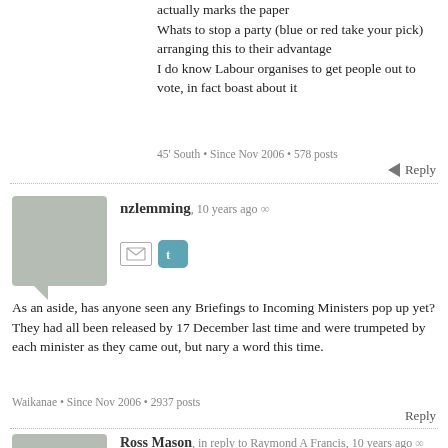actually marks the paper
Whats to stop a party (blue or red take your pick) arranging this to their advantage
I do know Labour organises to get people out to vote, in fact boast about it
45' South • Since Nov 2006 • 578 posts
Reply
nzlemming, 10 years ago ∞
As an aside, has anyone seen any Briefings to Incoming Ministers pop up yet? They had all been released by 17 December last time and were trumpeted by each minister as they came out, but nary a word this time.
Waikanae • Since Nov 2006 • 2937 posts
Reply
Ross Mason, in reply to Raymond A Francis, 10 years ago ∞